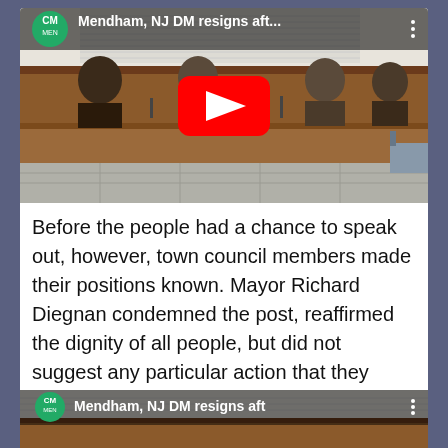[Figure (screenshot): YouTube video thumbnail showing a town council meeting room with people seated at a wooden council bench. Video title reads 'Mendham, NJ DM resigns aft...' with YouTube channel logo in top left and three-dot menu in top right. A red YouTube play button is centered on the image.]
Before the people had a chance to speak out, however, town council members made their positions known. Mayor Richard Diegnan condemned the post, reaffirmed the dignity of all people, but did not suggest any particular action that they should take.
[Figure (screenshot): Partial YouTube video thumbnail at bottom of page showing same town council meeting room. Video title reads 'Mendham, NJ DM resigns aft' with YouTube channel logo and three-dot menu visible.]